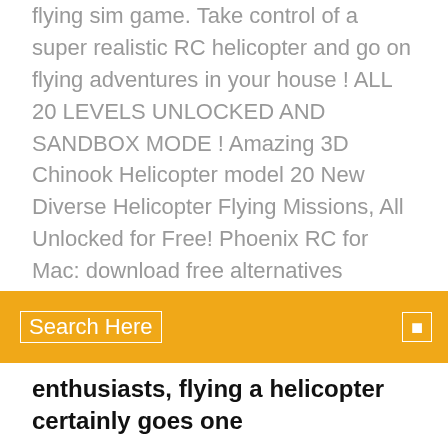flying sim game. Take control of a super realistic RC helicopter and go on flying adventures in your house ! ALL 20 LEVELS UNLOCKED AND SANDBOX MODE ! Amazing 3D Chinook Helicopter model 20 New Diverse Helicopter Flying Missions, All Unlocked for Free! Phoenix RC for Mac: download free alternatives
Search Here
enthusiasts, flying a helicopter certainly goes one
RC Helicopter Indoor Adventure is a RC helicopter flight simulation. You have to navigate your way through rooms, hallways and corridors collecting points to  RC Flight Simulator (gratuit) télécharger la version Windows The free professional realistic model simulation software. RC Flight Simulator is a realistic model simulation softrware for the rc , it includes 2 models the Art-Tech Falcon 3d and the BMI - Cessna. You can pilot the rc's with your keyboard or with a joystick . Professional